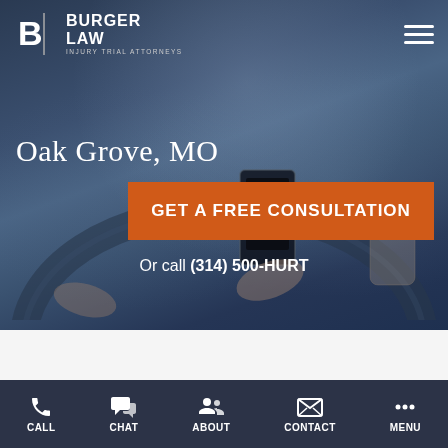[Figure (screenshot): Hero background showing hands on car steering wheel, one hand holding a smartphone, dark blue overlay tint suggesting distracted driving]
BURGER LAW | INJURY TRIAL ATTORNEYS
Oak Grove, MO
GET A FREE CONSULTATION
Or call (314) 500-HURT
CALL | CHAT | ABOUT | CONTACT | MENU